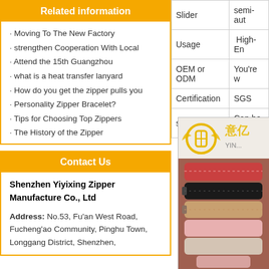Related information
· Moving To The New Factory
· strengthen Cooperation With Local
· Attend the 15th Guangzhou
· what is a heat transfer lanyard
· How do you get the zipper pulls you
· Personality Zipper Bracelet?
· Tips for Choosing Top Zippers
· The History of the Zipper
Contact Us
Shenzhen Yiyixing Zipper Manufacture Co., Ltd
Address: No.53, Fu'an West Road, Fucheng'ao Community, Pinghu Town, Longgang District, Shenzhen,
|  |  |
| --- | --- |
| Slider | semi-aut… |
| Usage | High-En… |
| OEM or ODM | You're w… |
| Certification | SGS |
| sample | Can be c… |
[Figure (photo): Photo of colorful zippers stacked together with company logo (Yiyixing zipper manufacturer)]